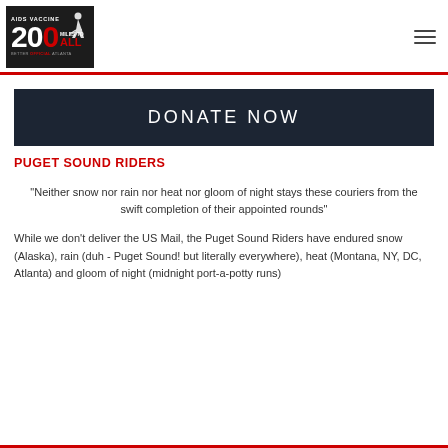[Figure (logo): AIDS Vaccine 200 FOR ALL cycling event logo with red and black colors and a cyclist silhouette]
DONATE NOW
PUGET SOUND RIDERS
"Neither snow nor rain nor heat nor gloom of night stays these couriers from the swift completion of their appointed rounds"
While we don't deliver the US Mail, the Puget Sound Riders have endured snow (Alaska), rain (duh - Puget Sound! but literally everywhere), heat (Montana, NY, DC, Atlanta) and gloom of night (midnight port-a-potty runs)